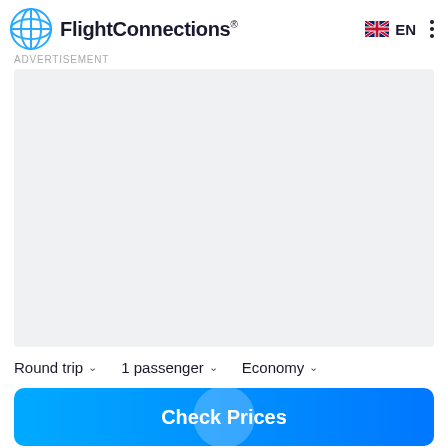FlightConnections® EN
ADVERTISEMENT
[Figure (other): Gray advertisement placeholder area]
Round trip ∨  1 passenger ∨  Economy ∨
Check Prices